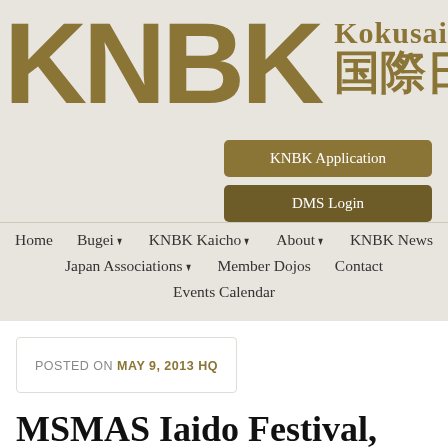[Figure (logo): KNBK logo with large bold gold letters and Kokusai Nippo text with Japanese characters in gold on grey background]
[Figure (screenshot): KNBK Application button - gold rounded rectangle button]
[Figure (screenshot): DMS Login button - darker gold rounded rectangle button]
Home   Bugei▼   KNBK Kaicho▼   About▼   KNBK News   Japan Associations▼   Member Dojos   Contact   Events Calendar
POSTED ON MAY 9, 2013 HQ
MSMAS Iaido Festival,